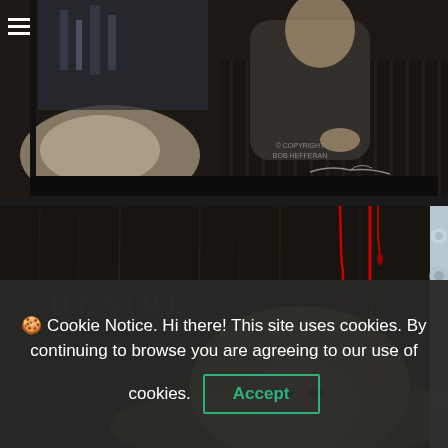[Figure (illustration): Dark noir-style illustration of a man in a suit and a woman in a satin dress sitting in the back of a black car. Copyright watermark reads '© COPYRIGHT BOB HEFFERAN' with a signature. A hamburger menu icon is visible in the top-left corner.]
[Figure (illustration): Dark atmospheric illustration showing a blonde woman partially visible, with red dripping paint/blood streaks over a dark textured background. Text 'DESIRE' visible in dark letters on the left. A floral patterned panel visible on the right edge.]
🍪 Cookie Notice. Hi there! This site uses cookies. By continuing to browse you are agreeing to our use of cookies.
Accept